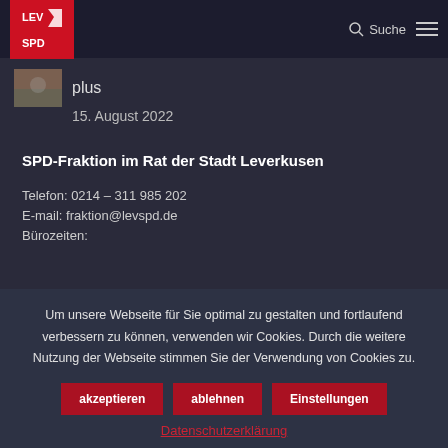LEV SPD — Suche
[Figure (logo): LEV SPD logo — red square with white LEV and SPD text and arrow icon]
plus
15. August 2022
SPD-Fraktion im Rat der Stadt Leverkusen
Telefon: 0214 – 311 985 202
E-mail: fraktion@levspd.de
Bürozeiten:
Um unsere Webseite für Sie optimal zu gestalten und fortlaufend verbessern zu können, verwenden wir Cookies. Durch die weitere Nutzung der Webseite stimmen Sie der Verwendung von Cookies zu.
akzeptieren   ablehnen   Einstellungen
Datenschutzerklärung